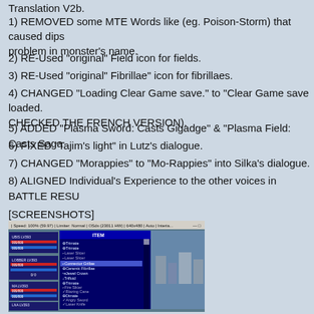Translation V2b.
1) REMOVED some MTE Words like (eg. Poison-Storm) that caused dips problem in monster's name.
2) RE-Used "original" Field icon for fields.
3) RE-Used "original" Fibrillae" icon for fibrillaes.
4) CHANGED "Loading Clear Game save." to "Clear Game save loaded. CHECKED THE FRENCH VERSION).
5) ADDED "Plasma Sword: Casts Gigadge" & "Plasma Field: Casts Saga
6) FIXED "Tajim's light" in Lutz's dialogue.
7) CHANGED "Morappies" to "Mo-Rappies" into Silka's dialogue.
8) ALIGNED Individual's Experience to the other voices in BATTLE RESU
[SCREENSHOTS]
[Figure (screenshot): Screenshot of a video game showing an ITEM menu with various items listed including Trimate, Laser Slicer, Ceramic Fibrillae, Jewel Crown, Trifluid, Fire Slicer, Blazing Cane, Dimate, Angry Sword, Laser Knife, Hesitant Ocarina, Amber Mantle. The game appears to be a classic RPG with character stats visible on the left side.]